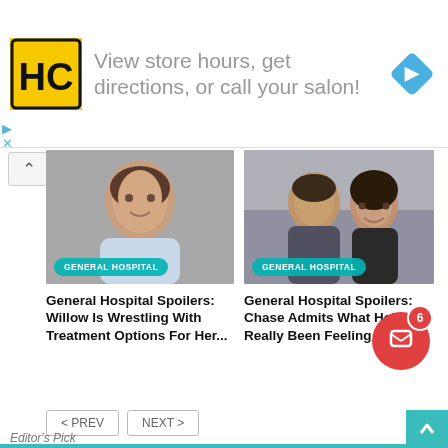[Figure (other): Advertisement banner: HC logo (black H and C letters in a yellow square with black border), text 'View store hours, get directions, or call your salon!', and a blue diamond navigation icon on the right]
[Figure (photo): Photo of a young woman with dark hair, looking forward, with a teal 'GENERAL HOSPITAL' badge overlay]
General Hospital Spoilers: Willow Is Wrestling With Treatment Options For Her...
[Figure (photo): Photo of a man and woman smiling together, with a teal 'GENERAL HOSPITAL' badge overlay]
General Hospital Spoilers: Chase Admits What He's Really Been Feeling
< PREV   NEXT >